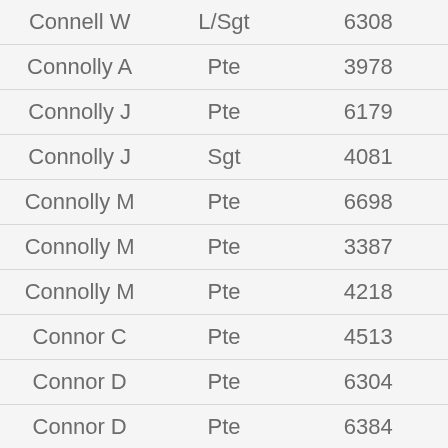| Name | Rank | Number |
| --- | --- | --- |
| Connell W | L/Sgt | 6308 |
| Connolly A | Pte | 3978 |
| Connolly J | Pte | 6179 |
| Connolly J | Sgt | 4081 |
| Connolly M | Pte | 6698 |
| Connolly M | Pte | 3387 |
| Connolly M | Pte | 4218 |
| Connor C | Pte | 4513 |
| Connor D | Pte | 6304 |
| Connor D | Pte | 6384 |